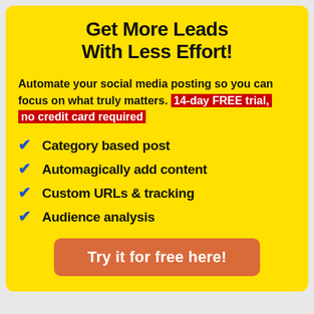Get More Leads With Less Effort!
Automate your social media posting so you can focus on what truly matters. 14-day FREE trial, no credit card required
Category based post
Automagically add content
Custom URLs & tracking
Audience analysis
Try it for free here!
[Figure (photo): Two red image blocks at the bottom of the page]